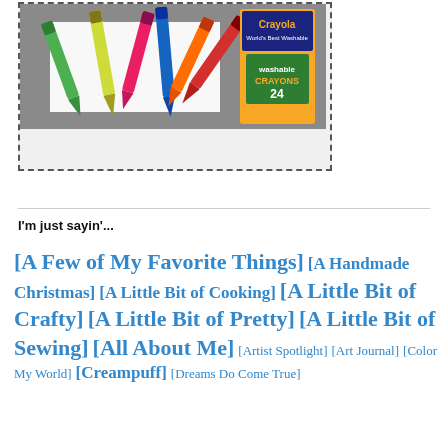[Figure (photo): Photo of Crayola washable crayons (24 pack) scattered on a white surface with a dashed border, titled 'SIMPLE COLORING BOOK TUTORIAL' below the image.]
I'm just sayin'...
[A Few of My Favorite Things] [A Handmade Christmas] [A Little Bit of Cooking] [A Little Bit of Crafty] [A Little Bit of Pretty] [A Little Bit of Sewing] [All About Me] [Artist Spotlight] [Art Journal] [Color My World] [Creampuff] [Dreams Do Come True]